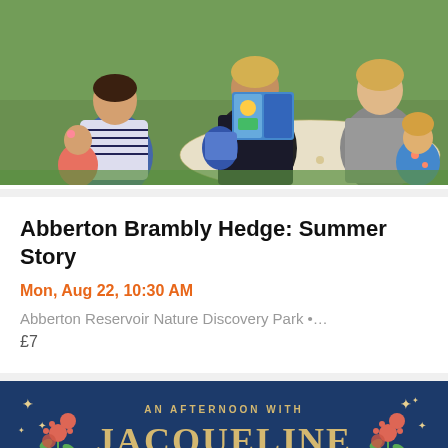[Figure (photo): Outdoor photo of adults and children sitting on a blanket in tall grass, reading a picture book together]
Abberton Brambly Hedge: Summer Story
Mon, Aug 22, 10:30 AM
Abberton Reservoir Nature Discovery Park •…
£7
[Figure (illustration): Dark navy blue promotional poster reading 'AN AFTERNOON WITH JACQUELINE WILSON' with decorative flowers, stars, and a Jacqueline Wilson book cover]